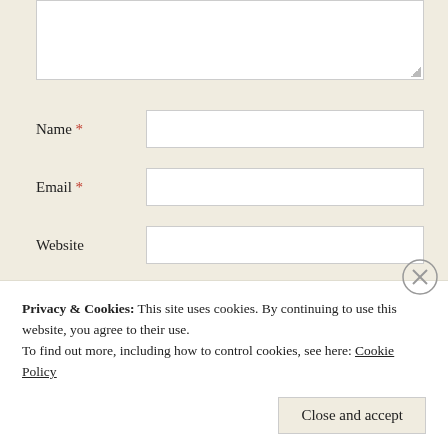[Figure (screenshot): Textarea input box (top portion visible, with resize handle in bottom-right corner)]
Name *
Email *
Website
Post Comment
Notify me of new comments via email.
Privacy & Cookies: This site uses cookies. By continuing to use this website, you agree to their use.
To find out more, including how to control cookies, see here: Cookie Policy
Close and accept